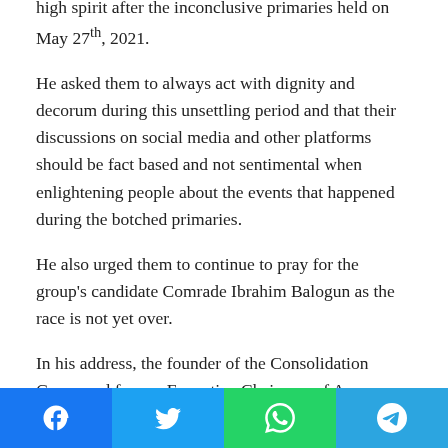high spirit after the inconclusive primaries held on May 27th, 2021.
He asked them to always act with dignity and decorum during this unsettling period and that their discussions on social media and other platforms should be fact based and not sentimental when enlightening people about the events that happened during the botched primaries.
He also urged them to continue to pray for the group's candidate Comrade Ibrahim Balogun as the race is not yet over.
In his address, the founder of the Consolidation Group and former Executive Chairman of Amuwo Odofin LGA, Comrade Ayodele Adewale, urged them to remain steadfast, stating that the battle for the highly revered seat of the local government chairman is not over.
[Figure (other): Social share buttons bar: Facebook (blue), Twitter (light blue), WhatsApp (green), Telegram (blue)]